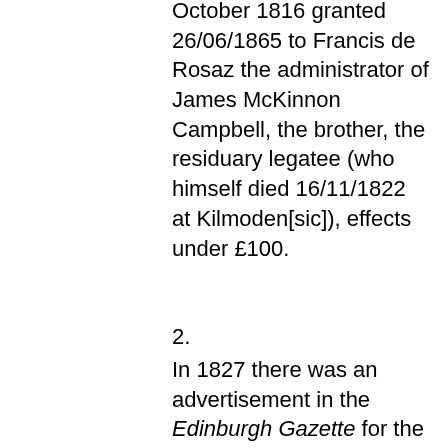October 1816 granted 26/06/1865 to Francis de Rosaz the administrator of James McKinnon Campbell, the brother, the residuary legatee (who himself died 16/11/1822 at Kilmoden[sic]), effects under £100.
2.
In 1827 there was an advertisement in the Edinburgh Gazette for the creditors of James Mackinnon Campbell of Ormaig in the county of Argyle and of Argyle and Inveraw, Island of Tobago. In 1846 the Edinburgh Gazette carried advertisements for the creditors of both James McKinnon Campbell and John McKinnon Campbell.
3.
The Petition to HM King George III for the establishment of Tain Royal Academy lists John Campbell of Tobago as being a